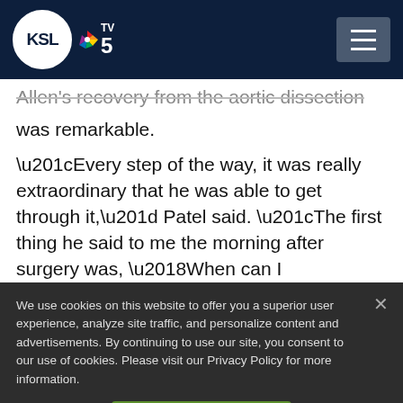KSL TV 5
Allen's recovery from the aortic dissection was remarkable.
“Every step of the way, it was really extraordinary that he was able to get through it,” Patel said. “The first thing he said to me the morning after surgery was, ‘When can I
We use cookies on this website to offer you a superior user experience, analyze site traffic, and personalize content and advertisements. By continuing to use our site, you consent to our use of cookies. Please visit our Privacy Policy for more information.
Accept Cookies